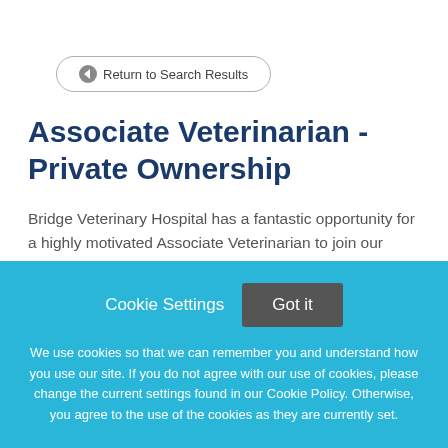← Return to Search Results
Associate Veterinarian - Private Ownership
Bridge Veterinary Hospital has a fantastic opportunity for a highly motivated Associate Veterinarian to join our rapidly growing, AAHA-accredited, community-based practice in Point Pleasant, NJ. Whether you're a
Cookie Settings   Got it
We use cookies so that we can remember you and understand how you use our site. If you do not agree with our use of cookies, please change the current settings found in our Cookie Policy. Otherwise, you agree to the use of the cookies as they are currently set.